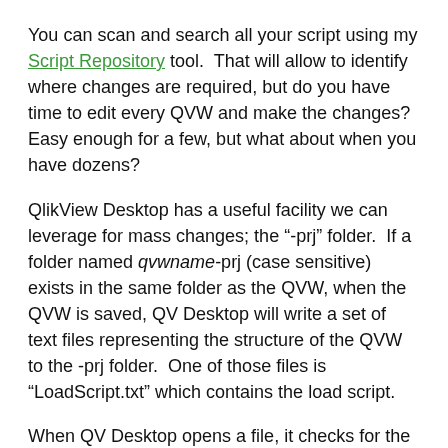You can scan and search all your script using my Script Repository tool.  That will allow to identify where changes are required, but do you have time to edit every QVW and make the changes?  Easy enough for a few, but what about when you have dozens?
QlikView Desktop has a useful facility we can leverage for mass changes; the “-prj” folder.  If a folder named qvwname-prj (case sensitive) exists in the same folder as the QVW, when the QVW is saved, QV Desktop will write a set of text files representing the structure of the QVW to the -prj folder.  One of those files is “LoadScript.txt” which contains the load script.
When QV Desktop opens a file, it checks for the existence of a companion -prj.  If found, it populates the QVW with the contents of the files in the -prj.  If we change one of those files, for example “LoadScript.txt”,  that change will be inherited by the QVW.